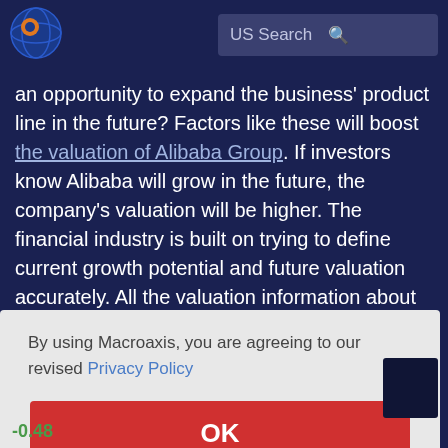[Figure (logo): Macroaxis logo: orange and blue globe icon]
US Search
an opportunity to expand the business' product line in the future? Factors like these will boost the valuation of Alibaba Group. If investors know Alibaba will grow in the future, the company's valuation will be higher. The financial industry is built on trying to define current growth potential and future valuation accurately. All the valuation information about
By using Macroaxis, you are agreeing to our revised Privacy Policy
OK
-0.48